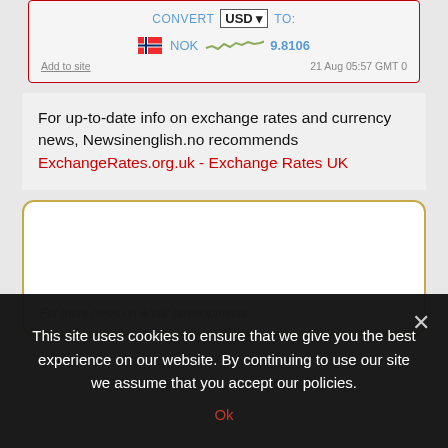[Figure (other): Currency converter widget showing USD to NOK exchange rate of 9.8106 with sparkline chart, dated 21 Aug 05:57 GMT 0]
For up-to-date info on exchange rates and currency news, Newsinenglish.no recommends ExchangeRates.org.uk - Exchange Rates UK
[Figure (other): Promotional box with caption: For more news on Arctic developments.]
This site uses cookies to ensure that we give you the best experience on our website. By continuing to use our site we assume that you accept our policies.
Ok